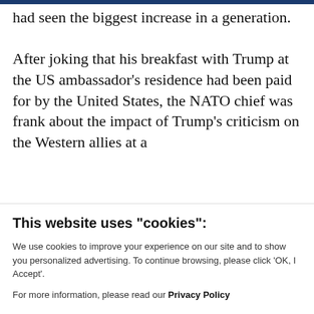had seen the biggest increase in a generation.
After joking that his breakfast with Trump at the US ambassador's residence had been paid for by the United States, the NATO chief was frank about the impact of Trump's criticism on the Western allies at a
This website uses "cookies":
We use cookies to improve your experience on our site and to show you personalized advertising. To continue browsing, please click 'OK, I Accept'.
For more information, please read our Privacy Policy
Ok, I Accept